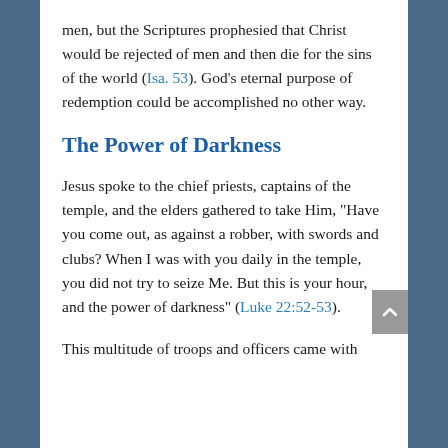men, but the Scriptures prophesied that Christ would be rejected of men and then die for the sins of the world (Isa. 53). God’s eternal purpose of redemption could be accomplished no other way.
The Power of Darkness
Jesus spoke to the chief priests, captains of the temple, and the elders gathered to take Him, “Have you come out, as against a robber, with swords and clubs? When I was with you daily in the temple, you did not try to seize Me. But this is your hour, and the power of darkness” (Luke 22:52-53).
This multitude of troops and officers came with